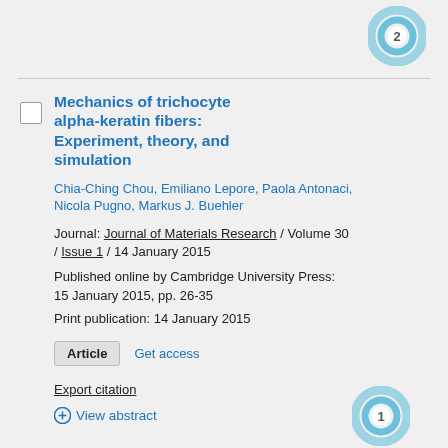[Figure (logo): Blue circular badge with number 2 at top right]
Mechanics of trichocyte alpha-keratin fibers: Experiment, theory, and simulation
Chia-Ching Chou, Emiliano Lepore, Paola Antonaci, Nicola Pugno, Markus J. Buehler
Journal: Journal of Materials Research / Volume 30 / Issue 1 / 14 January 2015
Published online by Cambridge University Press: 15 January 2015, pp. 26-35
Print publication: 14 January 2015
Article   Get access
Export citation
+ View abstract
[Figure (logo): Blue circular badge with number 1 at bottom right]